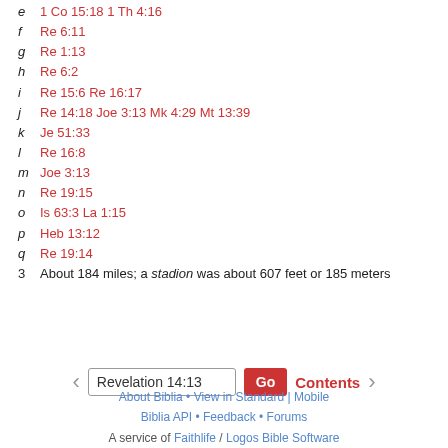e  1 Co 15:18 1 Th 4:16
f  Re 6:11
g  Re 1:13
h  Re 6:2
i  Re 15:6 Re 16:17
j  Re 14:18 Joe 3:13 Mk 4:29 Mt 13:39
k  Je 51:33
l  Re 16:8
m  Joe 3:13
n  Re 19:15
o  Is 63:3 La 1:15
p  Heb 13:12
q  Re 19:14
3  About 184 miles; a stadion was about 607 feet or 185 meters
Revelation 14:13
About Biblia • View in Standard | Mobile  Biblia API • Feedback • Forums  A service of Faithlife / Logos Bible Software